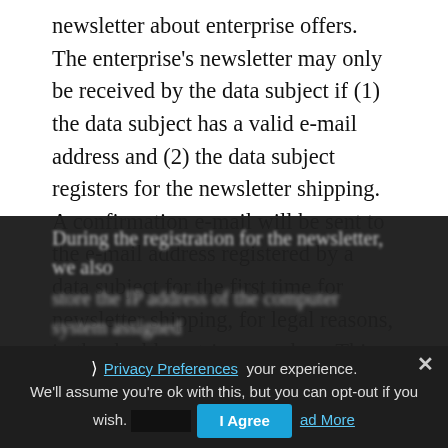newsletter about enterprise offers. The enterprise's newsletter may only be received by the data subject if (1) the data subject has a valid e-mail address and (2) the data subject registers for the newsletter shipping. A confirmation e-mail will be sent to the e-mail address registered by a data subject for the first time for newsletter shipping, for legal reasons, in the double opt-in procedure. This confirmation e-mail is used to prove whether the owner of the e-mail address as the data subject is authorized to receive the newsletter.
During the registration for the newsletter, we also store the IP address of the computer system assigned...
This website uses cookies to improve your experience. We'll assume you're ok with this, but you can opt-out if you wish. [Accept] Read More